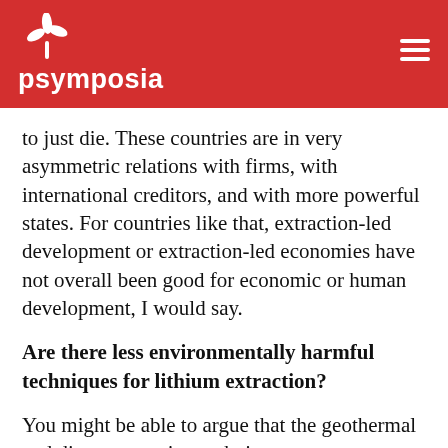psymposia
to just die. These countries are in very asymmetric relations with firms, with international creditors, and with more powerful states. For countries like that, extraction-led development or extraction-led economies have not overall been good for economic or human development, I would say.
Are there less environmentally harmful techniques for lithium extraction?
You might be able to argue that the geothermal and direct extraction techniques—